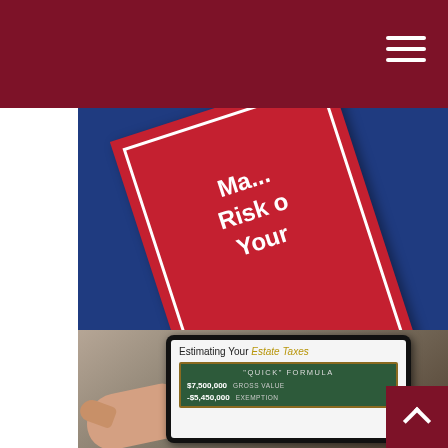[Figure (photo): Red book cover titled 'Managing the Risk of Your...' on a blue background, tilted at an angle]
Managing the Risk of Outliving Your Money
Steps to help you sustain and grow your retirement savings.
[Figure (photo): Hand holding a tablet displaying a screen titled 'Estimating Your Estate Taxes' with a chalkboard showing a 'Quick' Formula: $7,500,000 Gross Value, -$5,450,000 Exemption]